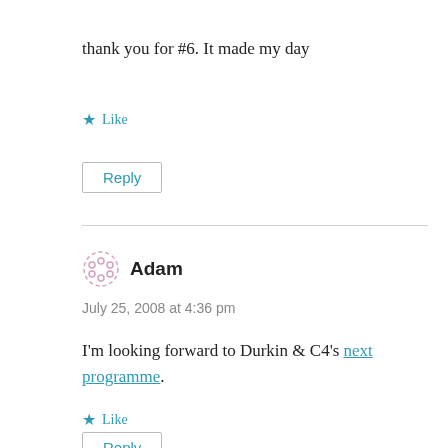thank you for #6. It made my day
★ Like
Reply
Adam
July 25, 2008 at 4:36 pm
I'm looking forward to Durkin & C4's next programme.
★ Like
Reply